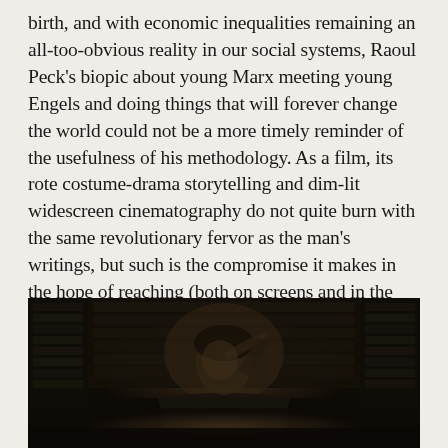birth, and with economic inequalities remaining an all-too-obvious reality in our social systems, Raoul Peck's biopic about young Marx meeting young Engels and doing things that will forever change the world could not be a more timely reminder of the usefulness of his methodology. As a film, its rote costume-drama storytelling and dim-lit widescreen cinematography do not quite burn with the same revolutionary fervor as the man's writings, but such is the compromise it makes in the hope of reaching (both on screens and in the minds of the viewers) a larger potential audience than, say, Godard's rhetoric-spewing La Chinoise.
[Figure (photo): A dark, moody film still showing a young man in period costume seated in what appears to be a library with bookshelves in the background. The man has his hand raised to his head in a contemplative or distressed pose. The image is very dimly lit with dark brown/sepia tones.]